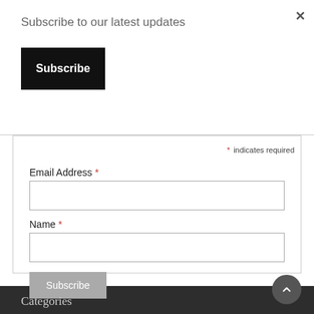Subscribe to our latest updates
×
Subscribe
* indicates required
Email Address *
Name *
Subscribe
Categories